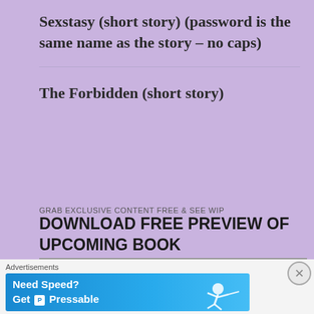Sexstasy (short story) (password is the same name as the story – no caps)
The Forbidden (short story)
GRAB EXCLUSIVE CONTENT FREE & SEE WIP
DOWNLOAD FREE PREVIEW OF UPCOMING BOOK
Advertisements
[Figure (illustration): Blue advertisement banner for Pressable hosting service reading 'Need Speed? Get Pressable' with a figure of a person flying/running]